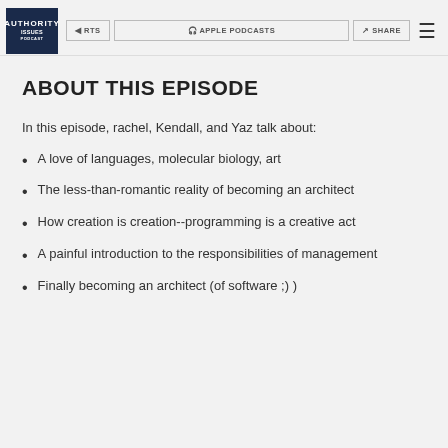Authority Issues | RTS | Apple Podcasts | Share
ABOUT THIS EPISODE
In this episode, rachel, Kendall, and Yaz talk about:
A love of languages, molecular biology, art
The less-than-romantic reality of becoming an architect
How creation is creation--programming is a creative act
A painful introduction to the responsibilities of management
Finally becoming an architect (of software ;) )